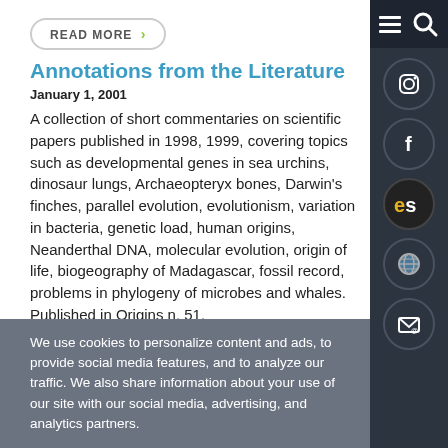READ MORE >
Annotations from the Literature
January 1, 2001
A collection of short commentaries on scientific papers published in 1998, 1999, covering topics such as developmental genes in sea urchins, dinosaur lungs, Archaeopteryx bones, Darwin's finches, parallel evolution, evolutionism, variation in bacteria, genetic load, human origins, Neanderthal DNA, molecular evolution, origin of life, biogeography of Madagascar, fossil record, problems in phylogeny of microbes and whales. Published in Origins n. 51.
READ MORE >
We use cookies to personalize content and ads, to provide social media features, and to analyze our traffic. We also share information about your use of our site with our social media, advertising, and analytics partners.